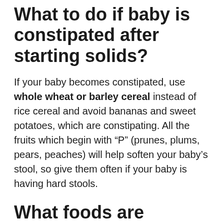What to do if baby is constipated after starting solids?
If your baby becomes constipated, use whole wheat or barley cereal instead of rice cereal and avoid bananas and sweet potatoes, which are constipating. All the fruits which begin with “P” (prunes, plums, pears, peaches) will help soften your baby’s stool, so give them often if your baby is having hard stools.
What foods are binding for babies?
Binding foods (foods high in soluble fiber)¹³…